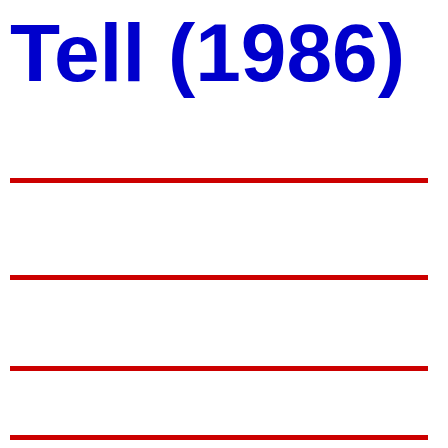Tell (1986)
[Figure (other): Four horizontal red lines evenly spaced across the lower portion of the page, serving as ruled lines on a form or template.]